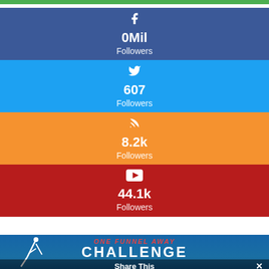[Figure (infographic): Green top navigation bar]
[Figure (infographic): Facebook block - dark blue background with Facebook 'f' icon, showing 0Mil Followers]
0Mil
Followers
[Figure (infographic): Twitter block - blue background with Twitter bird icon, showing 607 Followers]
607
Followers
[Figure (infographic): RSS block - orange background with RSS icon, showing 8.2k Followers]
8.2k
Followers
[Figure (infographic): YouTube block - dark red background with YouTube play button icon, showing 44.1k Followers]
44.1k
Followers
[Figure (infographic): One Funnel Away Challenge banner image at bottom with Share This bar overlay]